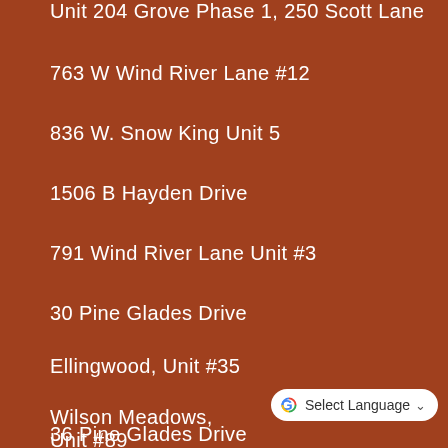Unit 204 Grove Phase 1, 250 Scott Lane
763 W Wind River Lane #12
836 W. Snow King Unit 5
1506 B Hayden Drive
791 Wind River Lane Unit #3
30 Pine Glades Drive
Ellingwood, Unit #35
Wilson Meadows, Unit #89
36 Pine Glades Drive